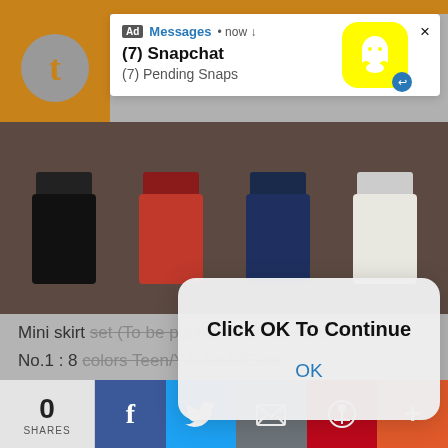[Figure (screenshot): Snapchat ad notification popup showing '(7) Snapchat' and '(7) Pending Snaps' with Snapchat ghost logo icon]
[Figure (photo): Mini skirt set product photo showing multiple colored mini skirts (black, red, navy, white) arranged side by side]
[Figure (screenshot): Mobile browser alert dialog saying 'Click OK To Continue' with an OK button]
Mini skirt set (To be published on 15 Aug)
No.1 : 8 colors Teen/YA/Adult/Elder
No.2 : 4 colors Teen/YA/Adult/Elder
DL(patreon early access)
[Figure (infographic): Social share bar with share count 0 SHARES, Facebook, Twitter, Email, Pinterest, and More buttons]